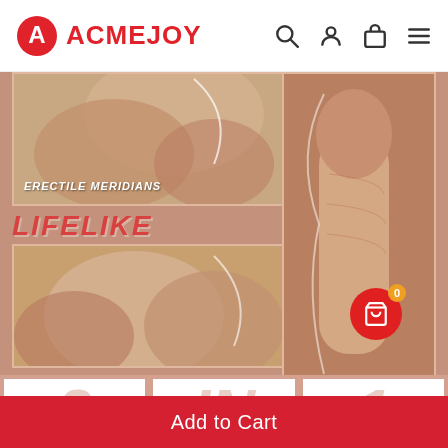ACMEJOY
[Figure (screenshot): Product detail page showing lifelike details of an adult toy with labels: ERECTILE MERIDIANS, LIFELIKE DETAILS, PLUMP TESTICLES, and a 3 IN 1 banner at the bottom]
ERECTILE MERIDIANS
LIFELIKE DETAILS
PLUMP TESTICLES
3 IN 1
Add to Cart